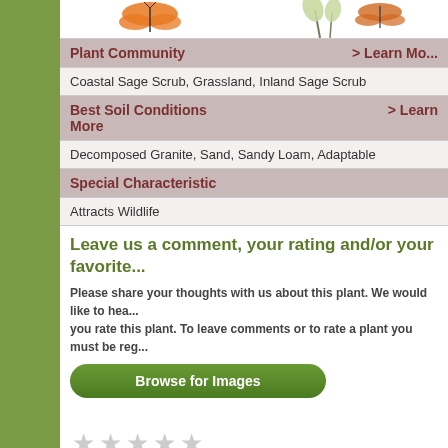[Figure (illustration): Butterfly illustrations in top image strip]
| Plant Community | > Learn Mo... |
| Coastal Sage Scrub, Grassland, Inland Sage Scrub |  |
| Best Soil Conditions | > Learn More |
| Decomposed Granite, Sand, Sandy Loam, Adaptable |  |
| Special Characteristic |  |
| Attracts Wildlife |  |
Leave us a comment, your rating and/or your favorite
Please share your thoughts with us about this plant. We would like to hea... you rate this plant. To leave comments or to rate a plant you must be reg...
[Figure (other): Browse for Images button]
[Figure (other): Five empty star rating widget]
Comments